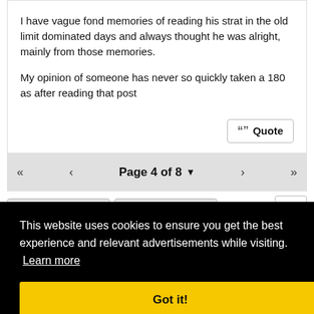I have vague fond memories of reading his strat in the old limit dominated days and always thought he was alright, mainly from those memories.

My opinion of someone has never so quickly taken a 180 as after reading that post
Quote
« < Page 4 of 8 ▾ > »
...
This website uses cookies to ensure you get the best experience and relevant advertisements while visiting. Learn more
Got it!
↑ Top